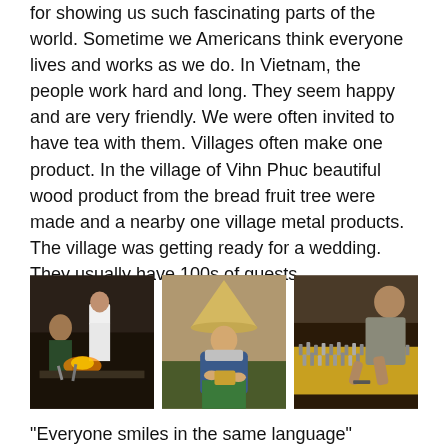for showing us such fascinating parts of the world. Sometime we Americans think everyone lives and works as we do. In Vietnam, the people work hard and long. They seem happy and are very friendly. We were often invited to have tea with them. Villages often make one product. In the village of Vihn Phuc beautiful wood product from the bread fruit tree were made and a nearby one village metal products. The village was getting ready for a wedding. They usually have 100s of guests.
[Figure (photo): Three photos side by side showing Vietnamese craftspeople at work: left photo shows metalworkers with fire/forge, center photo shows a woman in traditional Vietnamese conical hat sitting and working, right photo shows a craftsperson working on detailed metalwork.]
"Everyone smiles in the same language"